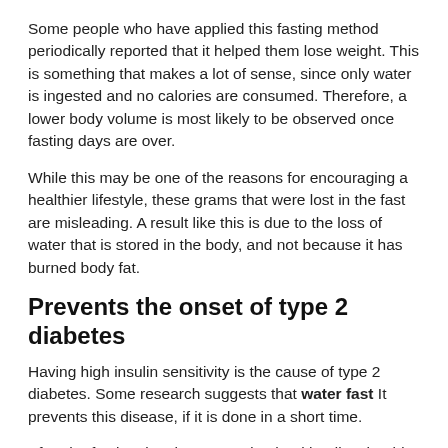Some people who have applied this fasting method periodically reported that it helped them lose weight. This is something that makes a lot of sense, since only water is ingested and no calories are consumed. Therefore, a lower body volume is most likely to be observed once fasting days are over.
While this may be one of the reasons for encouraging a healthier lifestyle, these grams that were lost in the fast are misleading. A result like this is due to the loss of water that is stored in the body, and not because it has burned body fat.
Prevents the onset of type 2 diabetes
Having high insulin sensitivity is the cause of type 2 diabetes. Some research suggests that water fast It prevents this disease, if it is done in a short time.
After the fasting time has passed, a healthy diet should be followed accompanied by a routine of physical activity. If tested with periodic water fasts, it is possible to obtain protection against insulin sensitivity. But in addition to that, it lowers the high levels of sugar